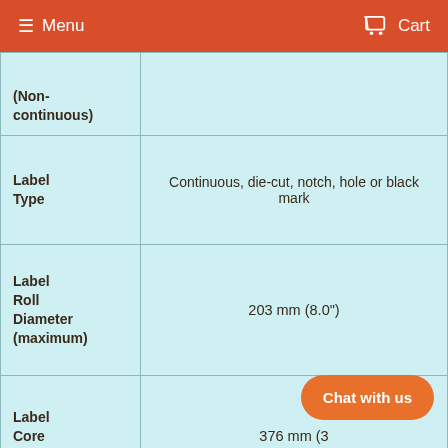☰ Menu   🛒 Cart
| (Non-continuous) |  |
| Label Type | Continuous, die-cut, notch, hole or black mark |
| Label Roll Diameter (maximum) | 203 mm (8.0") |
| Label Core Diameter | 376 mm (3… |